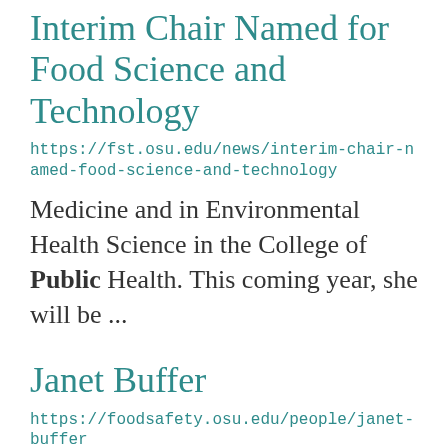Interim Chair Named for Food Science and Technology
https://fst.osu.edu/news/interim-chair-named-food-science-and-technology
Medicine and in Environmental Health Science in the College of Public Health. This coming year, she will be ...
Janet Buffer
https://foodsafety.osu.edu/people/janet-buffer
education at all industry levels.  MPH, Veterinary Public Health with a Food Safety Emphasis, The Ohio State ...
Insect Night Walk for Families